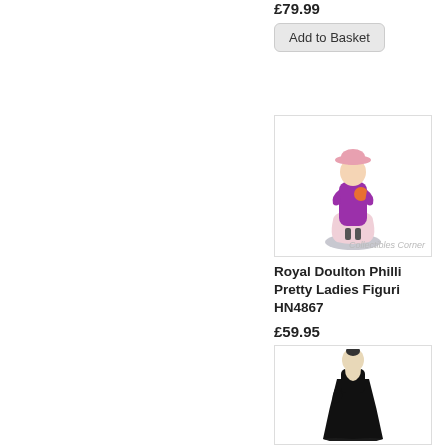£79.99
Add to Basket
[Figure (photo): Royal Doulton Philli Pretty Ladies figurine HN4867 - a porcelain figure of a woman in a pink dress and purple coat with pink hat, on a round base]
Royal Doulton Philli Pretty Ladies Figuri HN4867
£59.95
Add to Basket
[Figure (photo): Royal Doulton figurine of a woman in a black evening gown, standing elegantly]
Royal Doulton